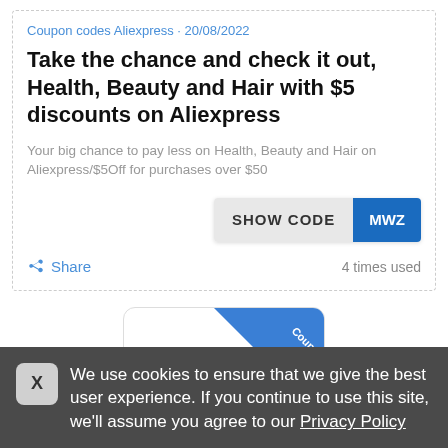Coupon codes Aliexpress · 20/08/2022
Take the chance and check it out, Health, Beauty and Hair with $5 discounts on Aliexpress
Your big chance to pay less on Health, Beauty and Hair on Aliexpress/$5Off for purchases over $50
SHOW CODE MWZ
Share   4 times used
[Figure (illustration): Coupon code badge with blue ribbon over white card, AliExpress orange logo/icon at bottom]
We use cookies to ensure that we give the best user experience. If you continue to use this site, we'll assume you agree to our Privacy Policy